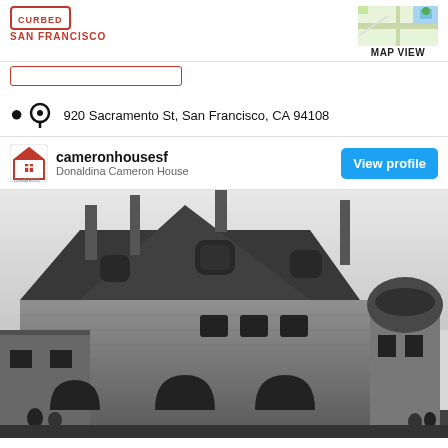CURBED SAN FRANCISCO
MAP VIEW
920 Sacramento St, San Francisco, CA 94108
cameronhousesf
Donaldina Cameron House
View profile
[Figure (photo): Black and white historical photograph of Donaldina Cameron House, a large brick building with steep roof, dormer windows, arched entryways, chimneys, and a rounded turret on the right side. People visible at the base of the building.]